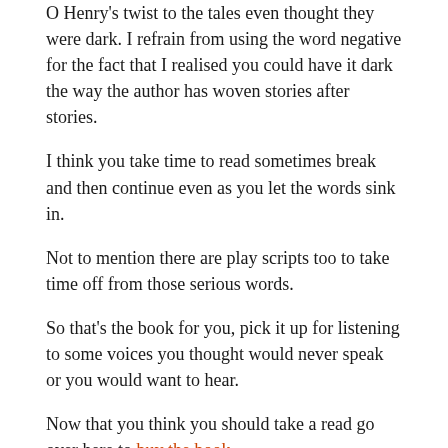O Henry's twist to the tales even thought they were dark. I refrain from using the word negative for the fact that I realised you could have it dark the way the author has woven stories after stories.
I think you take time to read sometimes break and then continue even as you let the words sink in.
Not to mention there are play scripts too to take time off from those serious words.
So that's the book for you, pick it up for listening to some voices you thought would never speak or you would want to hear.
Now that you think you should take a read go over here to buy the book.
Senthilkumar